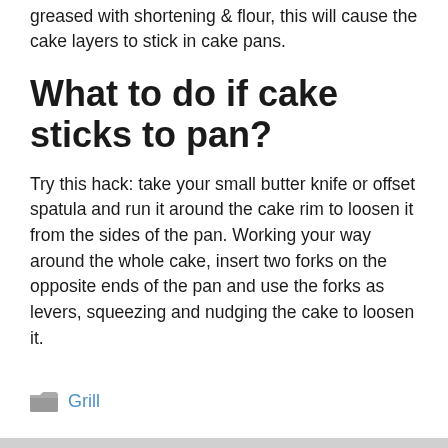greased with shortening & flour, this will cause the cake layers to stick in cake pans.
What to do if cake sticks to pan?
Try this hack: take your small butter knife or offset spatula and run it around the cake rim to loosen it from the sides of the pan. Working your way around the whole cake, insert two forks on the opposite ends of the pan and use the forks as levers, squeezing and nudging the cake to loosen it.
Grill